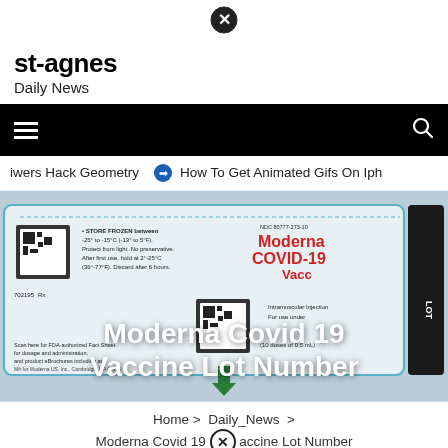[Figure (other): Close/X button circle icon at top center]
st-agnes
Daily News
[Figure (other): Black navigation bar with hamburger menu on left and search icon on right]
iwers Hack Geometry  ➡  How To Get Animated Gifs On Iph
[Figure (photo): Moderna COVID-19 Vaccine vial label showing storage instructions, QR codes, NDC number, lot number area, and product details. Overlaid with large bold white text: Moderna Covid 19 Vaccine Lot Number]
Home > Daily_News > Moderna Covid 19 Vaccine Lot Number